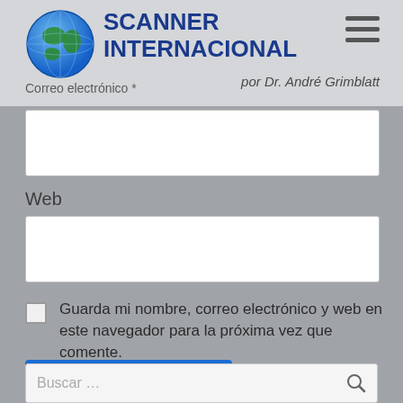SCANNER INTERNACIONAL por Dr. André Grimblatt
Correo electrónico *
Web
Guarda mi nombre, correo electrónico y web en este navegador para la próxima vez que comente.
PUBLICAR EL COMENTARIO
Buscar …